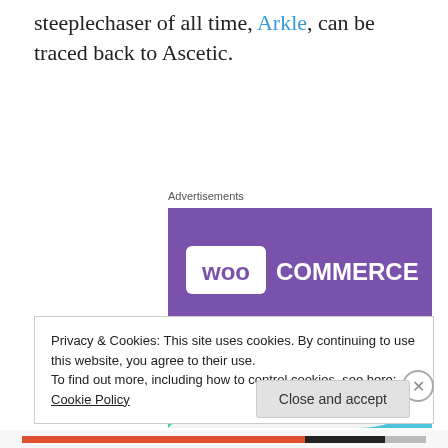steeplechaser of all time, Arkle, can be traced back to Ascetic.
Advertisements
[Figure (illustration): WooCommerce advertisement banner with purple background, teal triangle, light blue quarter-circle, and text 'How to start selling subscriptions online']
Privacy & Cookies: This site uses cookies. By continuing to use this website, you agree to their use.
To find out more, including how to control cookies, see here: Cookie Policy
Close and accept